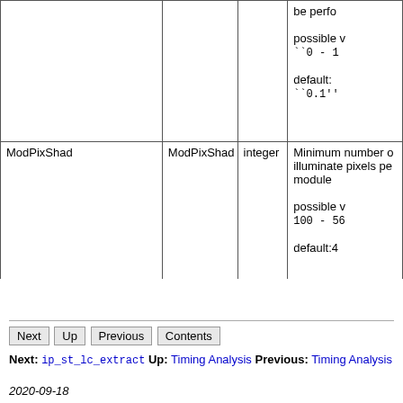| Parameter | Config key | Type | Description |
| --- | --- | --- | --- |
|  |  |  | be perfo...

possible v
``0 - 1

default:
``0.1'' |
| ModPixShad | ModPixShad | integer | Minimum number o illuminate pixels pe module

possible v
100 - 56

default:4... |
Next: ip_st_lc_extract Up: Timing Analysis Previous: Timing Analysis
2020-09-18